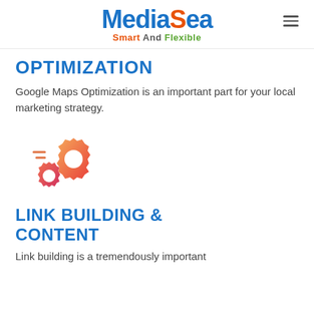MediaSea Smart And Flexible
OPTIMIZATION
Google Maps Optimization is an important part for your local marketing strategy.
[Figure (illustration): Two interlocking gear icons with gradient orange-to-pink coloring and small speed lines, representing settings or optimization.]
LINK BUILDING & CONTENT
Link building is a tremendously important